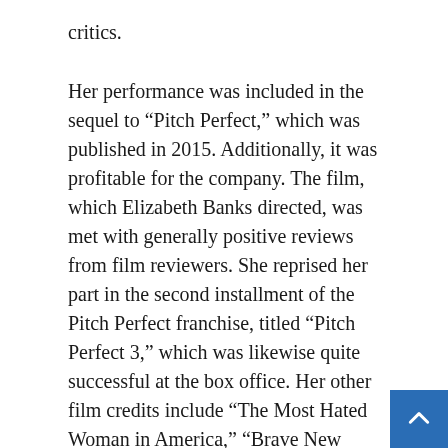critics.
Her performance was included in the sequel to “Pitch Perfect,” which was published in 2015. Additionally, it was profitable for the company. The film, which Elizabeth Banks directed, was met with generally positive reviews from film reviewers. She reprised her part in the second installment of the Pitch Perfect franchise, titled “Pitch Perfect 3,” which was likewise quite successful at the box office. Her other film credits include “The Most Hated Woman in America,” “Brave New Jersey,” and “Autumn Wanderer,” all of which were released between 2014 and 2016.